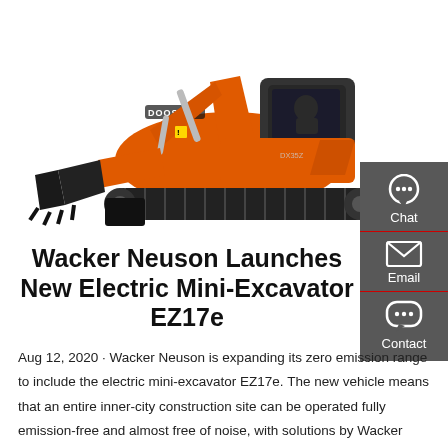[Figure (photo): A Doosan orange mini-excavator (labeled DX35Z or similar) on a white background, showing the full machine with bucket, arm, cab, and tracks.]
Wacker Neuson Launches New Electric Mini-Excavator EZ17e
Aug 12, 2020 · Wacker Neuson is expanding its zero emission range to include the electric mini-excavator EZ17e. The new vehicle means that an entire inner-city construction site can be operated fully emission-free and almost free of noise, with solutions by Wacker Neuson. Due to its specially developed